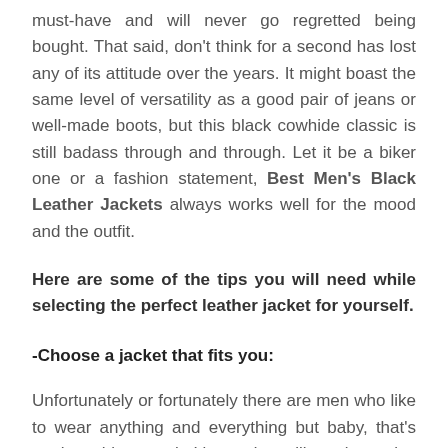must-have and will never go regretted being bought. That said, don't think for a second has lost any of its attitude over the years. It might boast the same level of versatility as a good pair of jeans or well-made boots, but this black cowhide classic is still badass through and through. Let it be a biker one or a fashion statement, Best Men's Black Leather Jackets always works well for the mood and the outfit.
Here are some of the tips you will need while selecting the perfect leather jacket for yourself.
-Choose a jacket that fits you:
Unfortunately or fortunately there are men who like to wear anything and everything but baby, that's not how things work. It's good you like trying styles and stuff but make sure whatever style and stuff you choose, it fits you